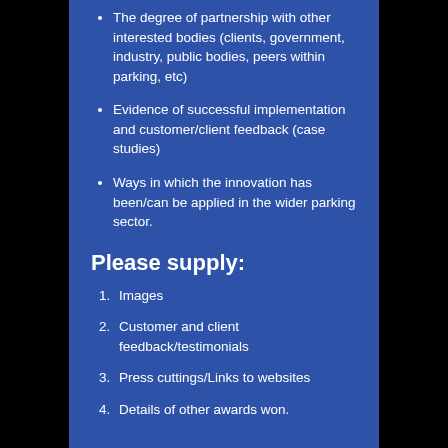The degree of partnership with other interested bodies (clients, government, industry, public bodies, peers within parking, etc)
Evidence of successful implementation and customer/client feedback (case studies)
Ways in which the innovation has been/can be applied in the wider parking sector.
Please supply:
1. Images
2. Customer and client feedback/testimonials
3. Press cuttings/Links to websites
4. Details of other awards won.